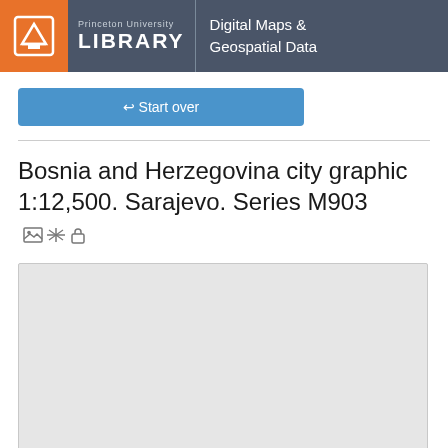Princeton University LIBRARY | Digital Maps & Geospatial Data
↩ Start over
Bosnia and Herzegovina city graphic 1:12,500. Sarajevo. Series M903
[Figure (map): Light gray empty map preview area for the Bosnia and Herzegovina city graphic]